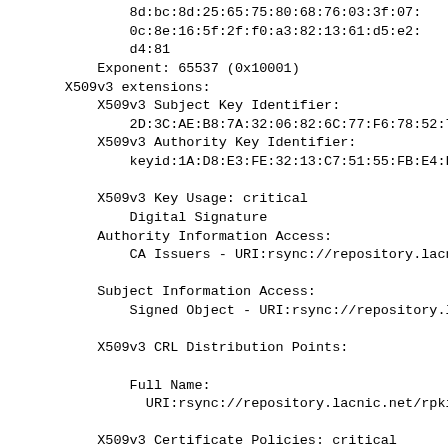8d:bc:8d:25:65:75:80:68:76:03:3f:07:
0c:8e:16:5f:2f:f0:a3:82:13:61:d5:e2:
d4:81
Exponent: 65537 (0x10001)
X509v3 extensions:
    X509v3 Subject Key Identifier:
        2D:3C:AE:B8:7A:32:06:82:6C:77:F6:78:52:79
    X509v3 Authority Key Identifier:
        keyid:1A:D8:E3:FE:32:13:C7:51:55:FB:E4:F8

    X509v3 Key Usage: critical
        Digital Signature
    Authority Information Access:
        CA Issuers - URI:rsync://repository.lacn:

    Subject Information Access:
        Signed Object - URI:rsync://repository.la

    X509v3 CRL Distribution Points:

        Full Name:
          URI:rsync://repository.lacnic.net/rpki/

    X509v3 Certificate Policies: critical
        Policy: ipAddr-asNumber

    sbgp-ipAddrBlock: critical
        IPv4:
          138.255.116.0/22
        IPv6: